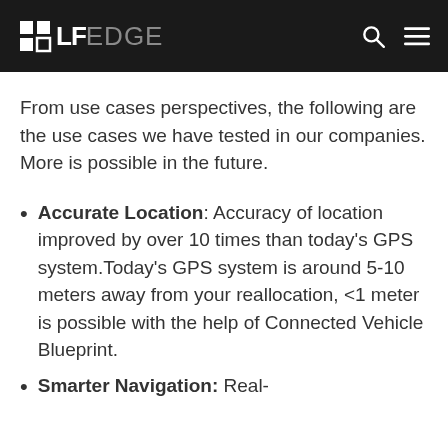LF EDGE
From use cases perspectives, the following are the use cases we have tested in our companies. More is possible in the future.
Accurate Location: Accuracy of location improved by over 10 times than today's GPS system.Today's GPS system is around 5-10 meters away from your reallocation, <1 meter is possible with the help of Connected Vehicle Blueprint.
Smarter Navigation: Real-